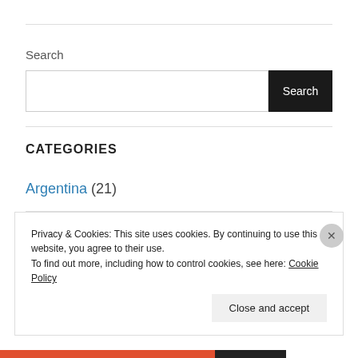Search
Search (input field and button)
CATEGORIES
Argentina (21)
Austria (2)
Privacy & Cookies: This site uses cookies. By continuing to use this website, you agree to their use. To find out more, including how to control cookies, see here: Cookie Policy
Close and accept